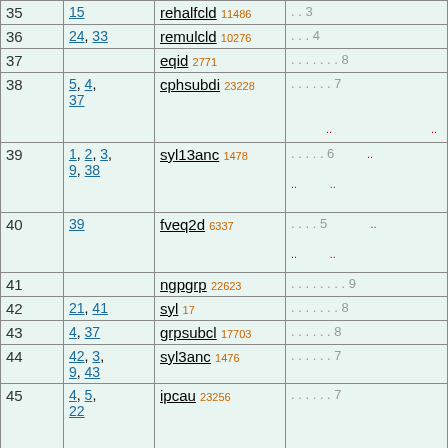| # | refs | name | info |
| --- | --- | --- | --- |
| 35 | 15 | rehalfcld 11486 | . . 3 |
| 36 | 24, 33 | remulcld 10276 | . . . 4 |
| 37 |  | eqid 2771 | . . . . . . . 8 |
| 38 | 5, 4, 37 | cphsubdi 23228 | . . . . . . 7 |
| 39 | 1, 2, 3, 9, 38 | syl13anc 1478 | . . . . . 6 |
| 40 | 39 | fveq2d 6337 | . . . . 5 |
| 41 |  | ngpgrp 22623 | . . . . . . . . 9 |
| 42 | 21, 41 | syl 17 | . . . . . . . 8 |
| 43 | 4, 37 | grpsubcl 17703 | . . . . . . 8 |
| 44 | 42, 3, 9, 43 | syl3anc 1476 | . . . . . . 7 |
| 45 | 4, 5, 22 | ipcau 23256 | . . . . . . 7 |